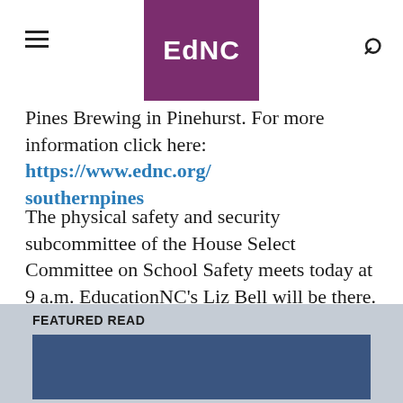EdNC
Pines Brewing in Pinehurst. For more information click here: https://www.ednc.org/southernpines
The physical safety and security subcommittee of the House Select Committee on School Safety meets today at 9 a.m. EducationNC's Liz Bell will be there.
FEATURED READ
[Figure (photo): Dark blue image placeholder for featured read article]